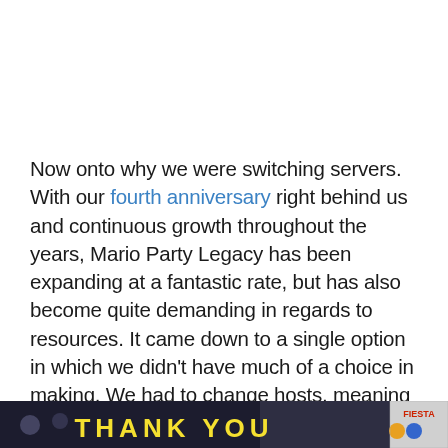Now onto why we were switching servers. With our fourth anniversary right behind us and continuous growth throughout the years, Mario Party Legacy has been expanding at a fantastic rate, but has also become quite demanding in regards to resources. It came down to a single option in which we didn't have much of a choice in making. We had to change hosts, meaning we had to move away from Joey's free hosting that has powered this website since its creation. We really can't thank Joey enough for all that he has done. If you have the chance, please leave a comment for Joey, this entire site would not exist without his help. Thank you Joey!
[Figure (photo): Bottom banner strip with dark background showing 'THANK YOU' text in yellow, with a small logo/badge in the bottom right corner]